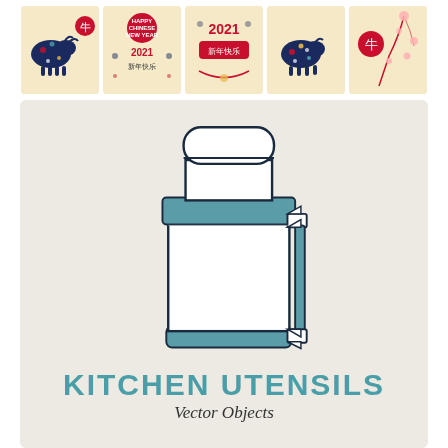[Figure (illustration): Strip of five Chinese New Year greeting card thumbnails at top of page, featuring ox/bull decorative motifs, floral patterns, red circles, and text '2021' and Chinese characters on beige/cream backgrounds.]
[Figure (illustration): Large vector illustration of a kitchen thermos/vacuum flask on a light beige background. The thermos is white/cream with teal/dark-cyan accent bands at the top (neck) and bottom (base), a rounded top cap, and a side handle with two rectangular clip attachments. The outline is dark navy/black. Located in the center of the main content area.]
KITCHEN UTENSILS
Vector Objects